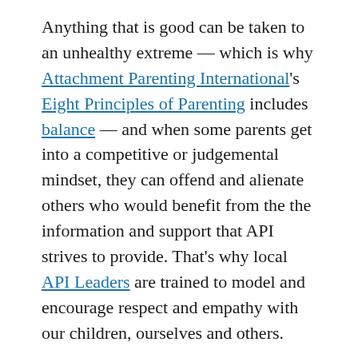Anything that is good can be taken to an unhealthy extreme — which is why Attachment Parenting International's Eight Principles of Parenting includes balance — and when some parents get into a competitive or judgemental mindset, they can offend and alienate others who would benefit from the the information and support that API strives to provide. That's why local API Leaders are trained to model and encourage respect and empathy with our children, ourselves and others.
Sadly, there are many children who are not securely attached to their parents. Their